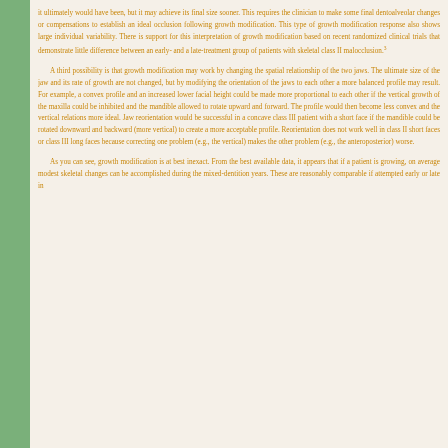it ultimately would have been, but it may achieve its final size sooner. This requires the clinician to make some final dentoalveolar changes or compensations to establish an ideal occlusion following growth modification. This type of growth modification response also shows large individual variability. There is support for this interpretation of growth modification based on recent randomized clinical trials that demonstrate little difference between an early- and a late-treatment group of patients with skeletal class II malocclusion.3
A third possibility is that growth modification may work by changing the spatial relationship of the two jaws. The ultimate size of the jaw and its rate of growth are not changed, but by modifying the orientation of the jaws to each other a more balanced profile may result. For example, a convex profile and an increased lower facial height could be made more proportional to each other if the vertical growth of the maxilla could be inhibited and the mandible allowed to rotate upward and forward. The profile would then become less convex and the vertical relations more ideal. Jaw reorientation would be successful in a concave class III patient with a short face if the mandible could be rotated downward and backward (more vertical) to create a more acceptable profile. Reorientation does not work well in class II short faces or class III long faces because correcting one problem (e.g., the vertical) makes the other problem (e.g., the anteroposterior) worse.
As you can see, growth modification is at best inexact. From the best available data, it appears that if a patient is growing, on average modest skeletal changes can be accomplished during the mixed-dentition years. These are reasonably comparable if attempted early or late in